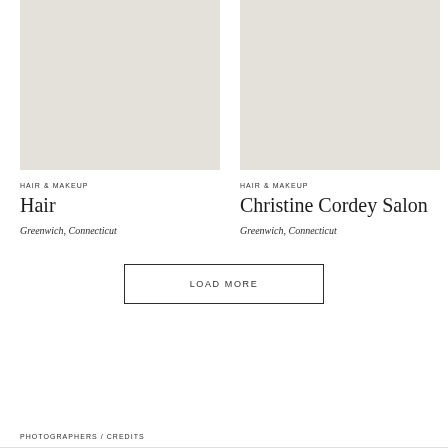[Figure (photo): Placeholder image for Hair listing, light beige/gray background]
HAIR & MAKEUP
Hair
Greenwich, Connecticut
[Figure (photo): Placeholder image for Christine Cordey Salon listing, light beige/gray background]
HAIR & MAKEUP
Christine Cordey Salon
Greenwich, Connecticut
LOAD MORE
PHOTOGRAPHERS / CREDITS